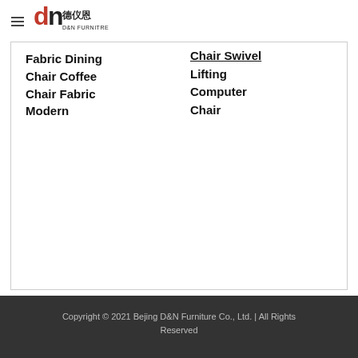[Figure (logo): D&N Furnitre logo with Chinese characters 德仪恩 and hamburger menu icon]
Fabric Dining Chair Coffee Chair Fabric Modern
Chair Swivel
Lifting
Computer Chair
Copyright © 2021 Bejing D&N Furniture Co., Ltd. | All Rights Reserved